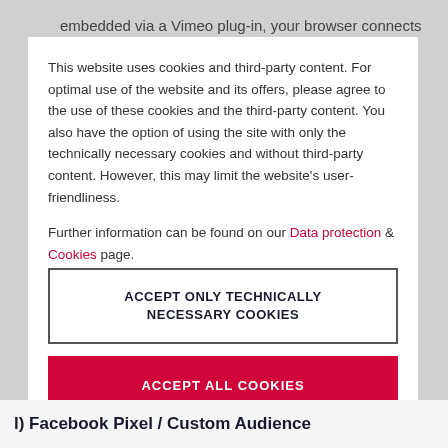embedded via a Vimeo plug-in, your browser connects
This website uses cookies and third-party content. For optimal use of the website and its offers, please agree to the use of these cookies and the third-party content. You also have the option of using the site with only the technically necessary cookies and without third-party content. However, this may limit the website's user-friendliness.
Further information can be found on our Data protection & Cookies page.
ACCEPT ONLY TECHNICALLY NECESSARY COOKIES
ACCEPT ALL COOKIES
l) Facebook Pixel / Custom Audience